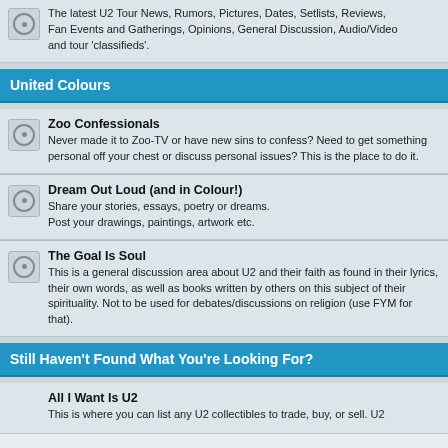The latest U2 Tour News, Rumors, Pictures, Dates, Setlists, Reviews, Fan Events and Gatherings, Opinions, General Discussion, Audio/Video and tour 'classifieds'.
United Colours
Zoo Confessionals — Never made it to Zoo-TV or have new sins to confess? Need to get something personal off your chest or discuss personal issues? This is the place to do it.
Dream Out Loud (and in Colour!) — Share your stories, essays, poetry or dreams. Post your drawings, paintings, artwork etc.
The Goal Is Soul — This is a general discussion area about U2 and their faith as found in their lyrics, their own words, as well as books written by others on this subject of their spirituality. Not to be used for debates/discussions on religion (use FYM for that).
Still Haven't Found What You're Looking For?
All I Want Is U2 — This is where you can list any U2 collectibles to trade, buy, or sell. U2...